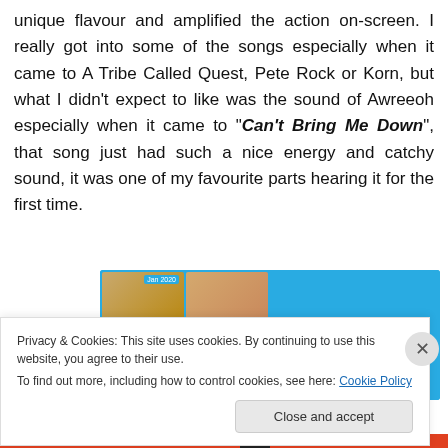unique flavour and amplified the action on-screen. I really got into some of the songs especially when it came to A Tribe Called Quest, Pete Rock or Korn, but what I didn't expect to like was the sound of Awreeoh especially when it came to "Can't Bring Me Down", that song just had such a nice energy and catchy sound, it was one of my favourite parts hearing it for the first time.
[Figure (screenshot): App advertisement showing a journal/photo app with blue background. Left side shows a 2x2 grid of photo thumbnails with '05' labels and 'Jan 2020' header. Right side shows text 'Your Journal for life' on blue background.]
Privacy & Cookies: This site uses cookies. By continuing to use this website, you agree to their use.
To find out more, including how to control cookies, see here: Cookie Policy
Close and accept